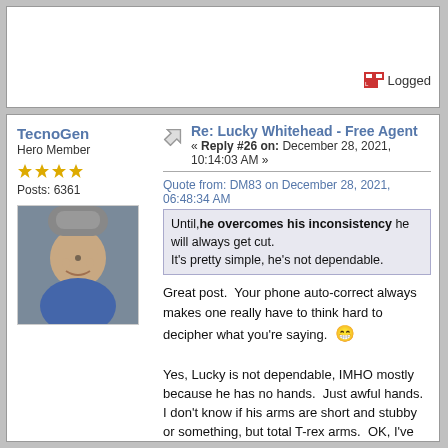Logged
TecnoGen
Hero Member
Posts: 6361
[Figure (photo): Avatar photo of forum user TecnoGen]
Re: Lucky Whitehead - Free Agent
« Reply #26 on: December 28, 2021, 10:14:03 AM »
Quote from: DM83 on December 28, 2021, 06:48:34 AM
Until, he overcomes his inconsistency he will always get cut. It's pretty simple, he's not dependable.
Great post.  Your phone auto-correct always makes one really have to think hard to decipher what you're saying. 😁
Yes, Lucky is not dependable, IMHO mostly because he has no hands.  Just awful hands.  I don't know if his arms are short and stubby or something, but total T-rex arms.  OK, I've said that a million times.  Here's the question: Did Speedy B also have bad hands and that's why they relegated him to return duty?  Or did he have great hands and just nobody knew?  The answer to that question could spell the future for Lucky... if Banks had bad hands and somehow improved, there's hope for Lucky. Maybe there are clinics/coaches that can help with